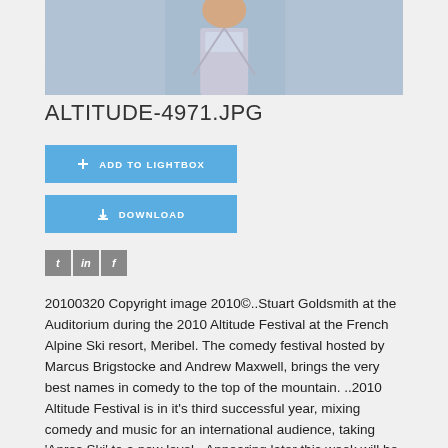[Figure (photo): Photo of a person at the Auditorium during the 2010 Altitude Festival, partial view against a light blue background]
ALTITUDE-4971.JPG
[Figure (infographic): ADD TO LIGHTBOX button (blue)]
[Figure (infographic): DOWNLOAD button (blue)]
[Figure (infographic): Social media icons: Twitter (t), LinkedIn (in), Facebook (f)]
20100320 Copyright image 2010©..Stuart Goldsmith at the Auditorium during the 2010 Altitude Festival at the French Alpine Ski resort, Meribel. The comedy festival hosted by Marcus Brigstocke and Andrew Maxwell, brings the very best names in comedy to the top of the mountain. ..2010 Altitude Festival is in it's third successful year, mixing comedy and music for an international audience, taking 'Apres Ski' to a new level...Appearing later this week will be 'The Pub Landlord' Al Murray, Canadian Craig Campbell, Improve expert Steve Frost. The musicians, Newton Faulkner